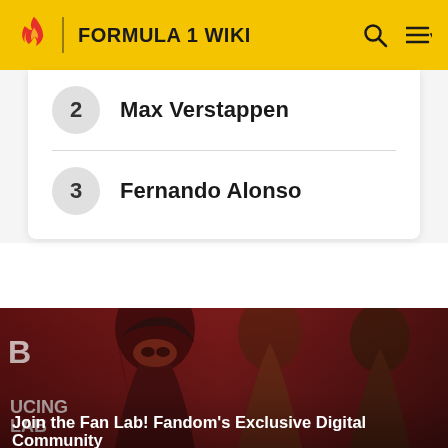FORMULA 1 WIKI
2  Max Verstappen
3  Fernando Alonso
[Figure (photo): Fandom Fan Lab advertisement banner showing costumed superhero characters with text 'Join the Fan Lab! Fandom's Exclusive Digital Community']
Join the Fan Lab! Fandom's Exclusive Digital Community